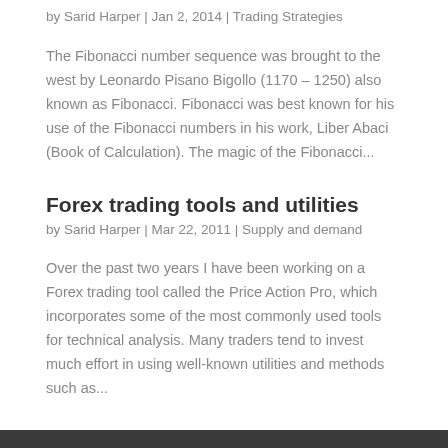by Sarid Harper | Jan 2, 2014 | Trading Strategies
The Fibonacci number sequence was brought to the west by Leonardo Pisano Bigollo (1170 – 1250) also known as Fibonacci. Fibonacci was best known for his use of the Fibonacci numbers in his work, Liber Abaci (Book of Calculation). The magic of the Fibonacci...
Forex trading tools and utilities
by Sarid Harper | Mar 22, 2011 | Supply and demand
Over the past two years I have been working on a Forex trading tool called the Price Action Pro, which incorporates some of the most commonly used tools for technical analysis. Many traders tend to invest much effort in using well-known utilities and methods such as...